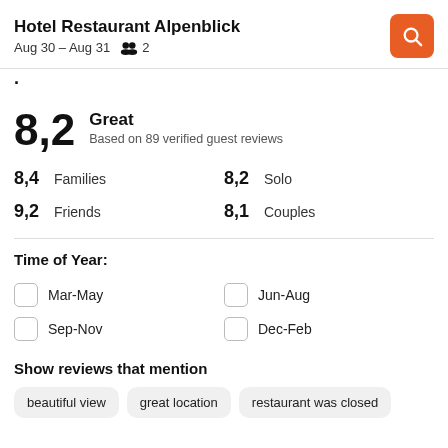Hotel Restaurant Alpenblick
Aug 30 – Aug 31   2
8,2   Great
Based on 89 verified guest reviews
8,4 Families   8,2 Solo
9,2 Friends   8,1 Couples
Time of Year:
Mar-May
Jun-Aug
Sep-Nov
Dec-Feb
Show reviews that mention
beautiful view   great location   restaurant was closed